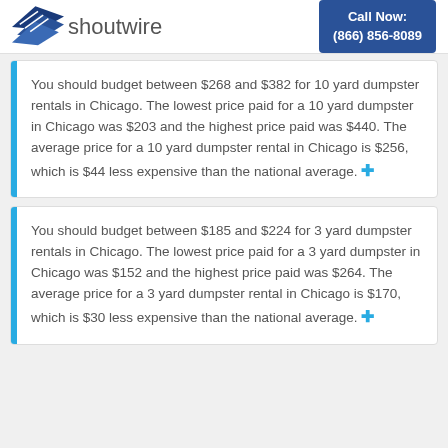shoutwire | Call Now: (866) 856-8089
You should budget between $268 and $382 for 10 yard dumpster rentals in Chicago. The lowest price paid for a 10 yard dumpster in Chicago was $203 and the highest price paid was $440. The average price for a 10 yard dumpster rental in Chicago is $256, which is $44 less expensive than the national average.
You should budget between $185 and $224 for 3 yard dumpster rentals in Chicago. The lowest price paid for a 3 yard dumpster in Chicago was $152 and the highest price paid was $264. The average price for a 3 yard dumpster rental in Chicago is $170, which is $30 less expensive than the national average.